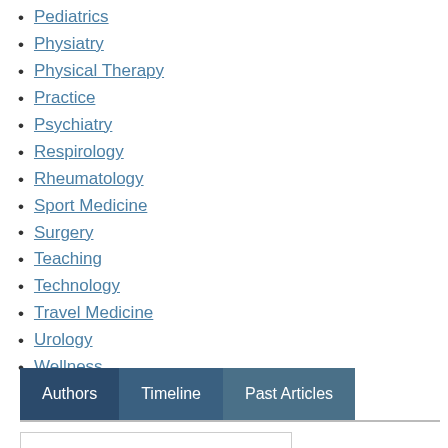Pediatrics
Physiatry
Physical Therapy
Practice
Psychiatry
Respirology
Rheumatology
Sport Medicine
Surgery
Teaching
Technology
Travel Medicine
Urology
Wellness
Authors | Timeline | Past Articles